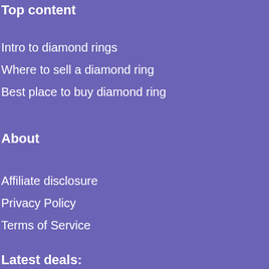Top content
Intro to diamond rings
Where to sell a diamond ring
Best place to buy diamond ring
About
Affiliate disclosure
Privacy Policy
Terms of Service
Latest deals: